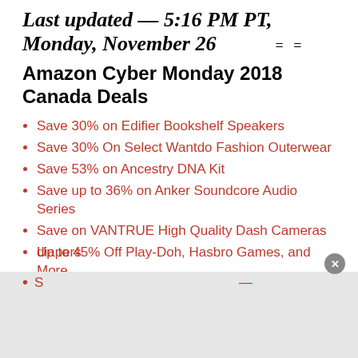Last updated — 5:16 PM PT, Monday, November 26
= =
Amazon Cyber Monday 2018 Canada Deals
Save 30% on Edifier Bookshelf Speakers
Save 30% On Select Wantdo Fashion Outerwear
Save 53% on Ancestry DNA Kit
Save up to 36% on Anker Soundcore Audio Series
Save on VANTRUE High Quality Dash Cameras
Up to 45% Off Play-Doh, Hasbro Games, and More
Save 30% on Select Nursery Items
Save up to 30% off on Eco friendly premium diapers
[obscured by overlay]